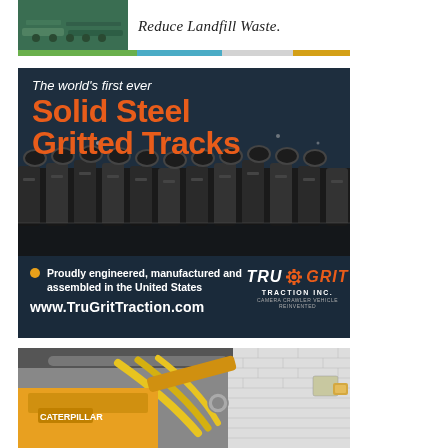[Figure (illustration): Top advertisement banner with green equipment image on left and italic tagline 'Reduce Landfill Waste.' on right, with a colored bar below (green, blue, gray, gold).]
[Figure (photo): TruGrit Traction Inc. advertisement showing close-up of solid steel gritted tracks on heavy equipment. Text overlays: 'The world's first ever', 'Solid Steel', 'Gritted Tracks' in orange/white. Bottom panel: bullet point 'Proudly engineered, manufactured and assembled in the United States', website 'www.TruGritTraction.com', TruGrit Traction Inc. logo.]
[Figure (photo): Photo of a Caterpillar machine/excavator inside a building, with yellow hydraulic hoses visible, white brick wall in background.]